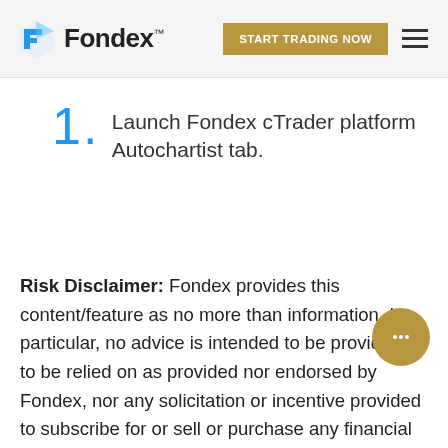Fondex — START TRADING NOW
1. Launch Fondex cTrader platform Autochartist tab.
Risk Disclaimer: Fondex provides this content/feature as no more than information. In particular, no advice is intended to be provided or to be relied on as provided nor endorsed by Fondex, nor any solicitation or incentive provided to subscribe for or sell or purchase any financial